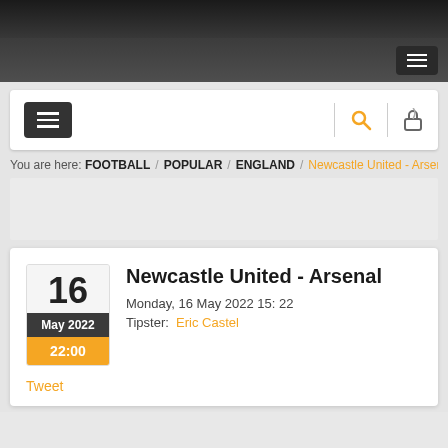Navigation bar with hamburger menu
[Figure (screenshot): Website header with hamburger menu button (dark background), search icon (orange), and lock icon]
You are here: FOOTBALL / POPULAR / ENGLAND / Newcastle United - Arsenal
Newcastle United - Arsenal
Monday, 16 May 2022 15: 22
Tipster: Eric Castel
Tweet